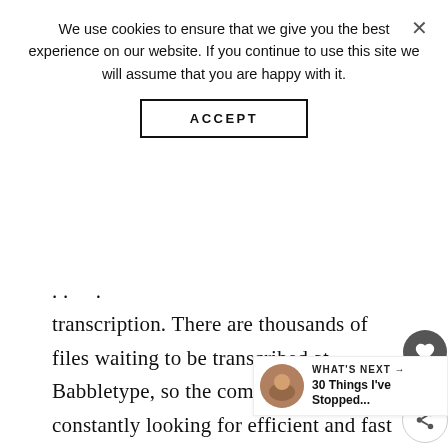We use cookies to ensure that we give you the best experience on our website. If you continue to use this site we will assume that you are happy with it.
ACCEPT
transcription. There are thousands of files waiting to be transcribed at Babbletype, so the company is constantly looking for efficient and fast typists. Babbletype pays $12-$15 per audio hour via PayPal.
10. GMR TRANSCRIPTION
You can also find tons of transcription jobs from home at GMR Transcription. The